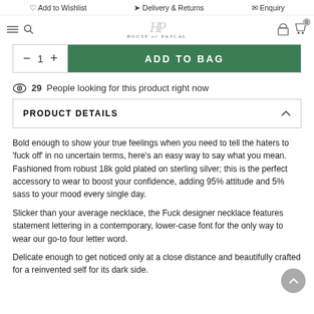Add to Wishlist   Delivery & Returns   Enquiry
[Figure (logo): House of Pascal logo with stylized HP letters and brand name]
ADD TO BAG (quantity control: minus 1 plus)
29 People looking for this product right now
PRODUCT DETAILS
Bold enough to show your true feelings when you need to tell the haters to 'fuck off' in no uncertain terms, here's an easy way to say what you mean.  Fashioned from robust 18k gold plated on sterling silver; this is the perfect accessory to wear to boost your confidence, adding 95% attitude and 5% sass to your mood every single day.
Slicker than your average necklace, the Fuck designer necklace features statement lettering in a contemporary, lower-case font for the only way to wear our go-to four letter word.
Delicate enough to get noticed only at a close distance and beautifully crafted for a reinvented self for its dark side.